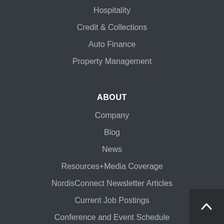Hospitality
Credit & Collections
Auto Finance
Property Management
ABOUT
Company
Blog
News
Resources+Media Coverage
NordisConnect Newsletter Articles
Current Job Postings
Conference and Event Schedule
Privacy
Contact Us